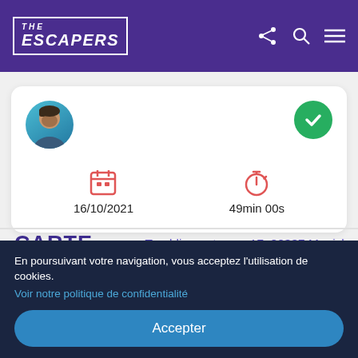THE ESCAPERS
[Figure (screenshot): User profile card showing avatar photo, green checkmark, calendar icon with date 16/10/2021, and stopwatch icon with 49min 00s]
CARTE
Tumblingerstrasse 17, 80337 Munich
En poursuivant votre navigation, vous acceptez l'utilisation de cookies.
Voir notre politique de confidentialité
Accepter